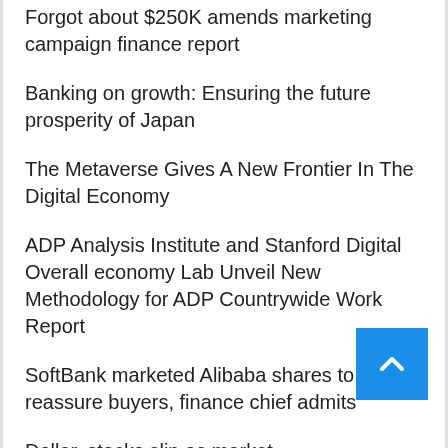Forgot about $250K amends marketing campaign finance report
Banking on growth: Ensuring the future prosperity of Japan
The Metaverse Gives A New Frontier In The Digital Economy
ADP Analysis Institute and Stanford Digital Overall economy Lab Unveil New Methodology for ADP Countrywide Work Report
SoftBank marketed Alibaba shares to reassure buyers, finance chief admits
Dollar, stocks slip as market struggles with Fed message
DTCC's 'Project Ion' Hits a Milestone & Other